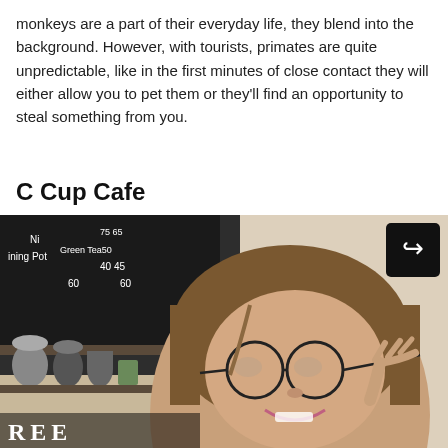monkeys are a part of their everyday life, they blend into the background. However, with tourists, primates are quite unpredictable, like in the first minutes of close contact they will either allow you to pet them or they'll find an opportunity to steal something from you.
C Cup Cafe
[Figure (photo): Photo of a young woman with short bob haircut and round glasses, smiling and holding her glasses frame, inside what appears to be a cafe with a dark menu board visible in the background showing items like 'Green Tea', 'Pot' with prices 40, 45, 60, 75. Metal containers visible on shelves. A share button (arrow icon) is shown in the top right corner of the image.]